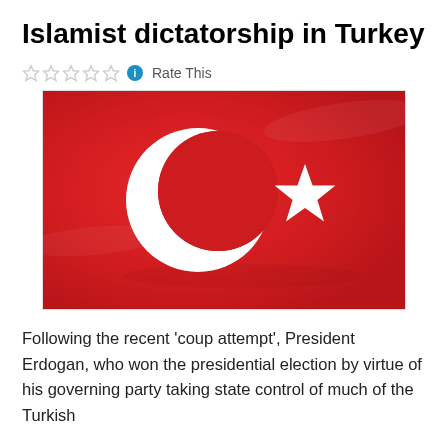Islamist dictatorship in Turkey
☆☆☆☆☆ ℹ Rate This
[Figure (photo): Turkish flag with white crescent and star on red background, slightly waving]
Following the recent 'coup attempt', President Erdogan, who won the presidential election by virtue of his governing party taking state control of much of the Turkish